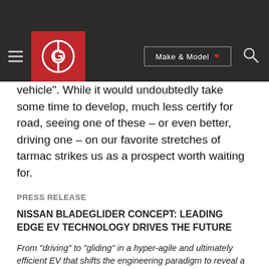Make & Model navigation header with logo
vehicle". While it would undoubtedly take some time to develop, much less certify for road, seeing one of these – or even better, driving one – on our favorite stretches of tarmac strikes us as a prospect worth waiting for.
PRESS RELEASE
NISSAN BLADEGLIDER CONCEPT: LEADING EDGE EV TECHNOLOGY DRIVES THE FUTURE
From "driving" to "gliding" in a hyper-agile and ultimately efficient EV that shifts the engineering paradigm to reveal a new dimension of driving fun and excitement
YOKOHAMA, Japan (Nov. 8, 2013) - More than a concept, Nissan BladeGlider is both a proposal for the future direction of Nissan electric vehicle (EV) development and an exploratory prototype of an upcoming production vehicle from the world's leading EV manufacturer.